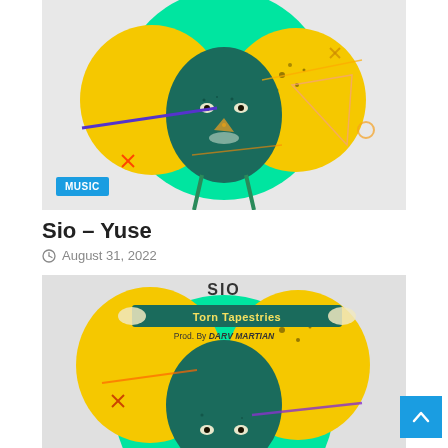[Figure (illustration): Illustrated portrait of a woman with dark green/teal skin, large yellow afro hair on a green circular background, with colorful abstract shapes and lines scattered around. A blue 'MUSIC' badge overlays the lower left corner.]
Sio – Yuse
August 31, 2022
[Figure (illustration): Second illustrated portrait similar to the first — woman with teal skin and yellow afro hair on green circular background. Text overlay reads 'SIO / Torn Tapestries / Prod. By DARV MARTIAN'.]